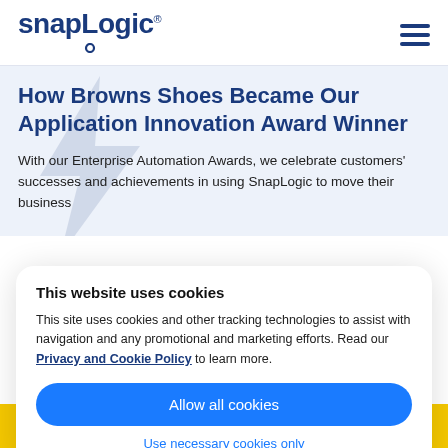snapLogic
How Browns Shoes Became Our Application Innovation Award Winner
With our Enterprise Automation Awards, we celebrate customers' successes and achievements in using SnapLogic to move their business
This website uses cookies
This site uses cookies and other tracking technologies to assist with navigation and any promotional and marketing efforts. Read our Privacy and Cookie Policy to learn more.
Allow all cookies
Use necessary cookies only
illumina